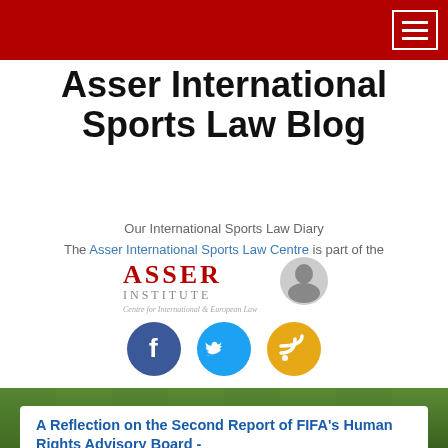Asser International Sports Law Blog
Our International Sports Law Diary
The Asser International Sports Law Centre is part of the
[Figure (logo): Asser Institute logo with red ASSER text, grey INSTITUTE text, silhouette portrait, and italic tagline 'Centre for International & European Law']
[Figure (infographic): Three circular social media icons: Facebook (blue), Twitter (blue), RSS (orange/gold)]
[Figure (photo): Green grass/football pitch background]
A Reflection on the Second Report of FIFA's Human Rights Advisory Board -